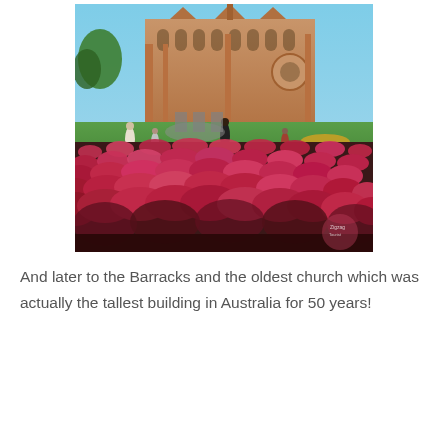[Figure (photo): A photo of a gothic cathedral/church building in the background with red/pink flower beds in the foreground and green grass with people walking. There is a watermark in the bottom right corner of the photo.]
And later to the Barracks and the oldest church which was actually the tallest building in Australia for 50 years!